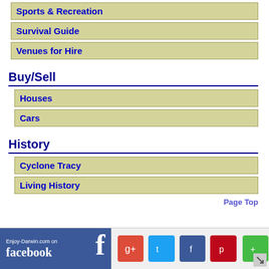Sports & Recreation
Survival Guide
Venues for Hire
Buy/Sell
Houses
Cars
History
Cyclone Tracy
Living History
Page Top
[Figure (screenshot): Facebook social media banner showing Enjoy-Darwin.com on facebook with social sharing icons]
Enjoy-Darwin.com on facebook | social sharing buttons